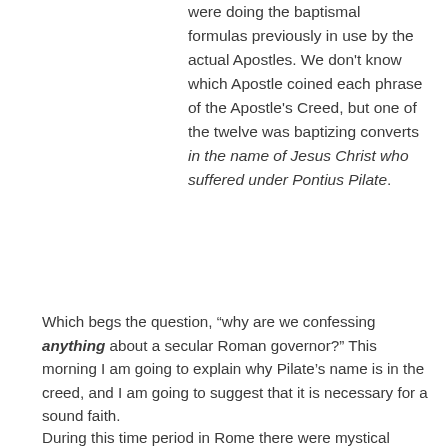were doing the baptismal formulas previously in use by the actual Apostles. We don't know which Apostle coined each phrase of the Apostle's Creed, but one of the twelve was baptizing converts in the name of Jesus Christ who suffered under Pontius Pilate.
Which begs the question, “why are we confessing anything about a secular Roman governor?” This morning I am going to explain why Pilate’s name is in the creed, and I am going to suggest that it is necessary for a sound faith.
During this time period in Rome there were mystical religions that